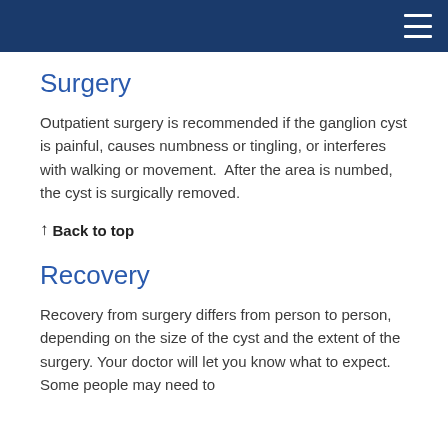Surgery
Outpatient surgery is recommended if the ganglion cyst is painful, causes numbness or tingling, or interferes with walking or movement.  After the area is numbed, the cyst is surgically removed.
↑ Back to top
Recovery
Recovery from surgery differs from person to person, depending on the size of the cyst and the extent of the surgery. Your doctor will let you know what to expect.  Some people may need to